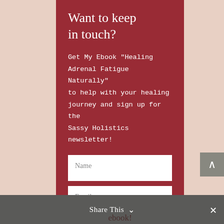Want to keep in touch?
Get My Ebook "Healing Adrenal Fatigue Naturally" to help with your healing journey and sign up for the Sassy Holistics newsletter!
Name
Email
Get my free ebook!
Share This ∨